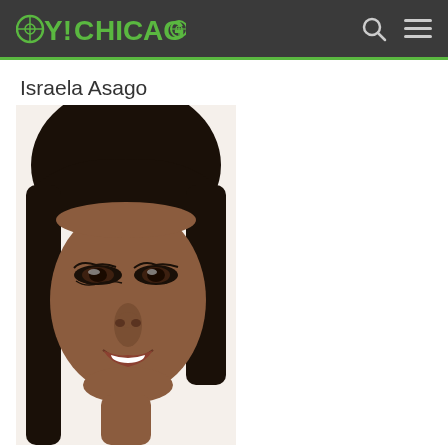OY!CHICAGO
Israela Asago
[Figure (photo): Close-up portrait photo of Israela Asago, a young woman with dark skin, long black hair with bangs, and dramatic eye makeup, smiling slightly against a white background.]